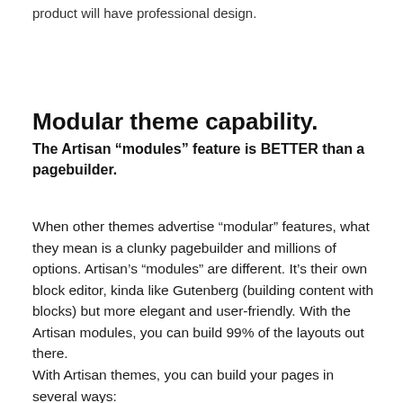product will have professional design.
Modular theme capability.
The Artisan “modules” feature is BETTER than a pagebuilder.
When other themes advertise “modular” features, what they mean is a clunky pagebuilder and millions of options. Artisan’s “modules” are different. It’s their own block editor, kinda like Gutenberg (building content with blocks) but more elegant and user-friendly. With the Artisan modules, you can build 99% of the layouts out there.
With Artisan themes, you can build your pages in several ways: